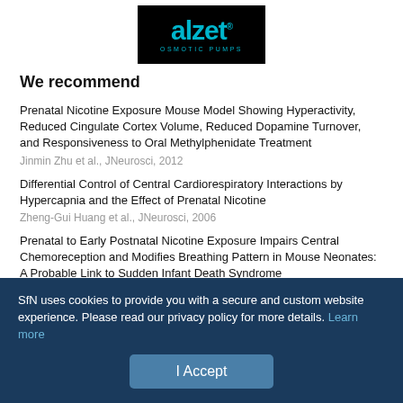[Figure (logo): ALZET Osmotic Pumps logo — teal text on black background]
We recommend
Prenatal Nicotine Exposure Mouse Model Showing Hyperactivity, Reduced Cingulate Cortex Volume, Reduced Dopamine Turnover, and Responsiveness to Oral Methylphenidate Treatment
Jinmin Zhu et al., JNeurosci, 2012
Differential Control of Central Cardiorespiratory Interactions by Hypercapnia and the Effect of Prenatal Nicotine
Zheng-Gui Huang et al., JNeurosci, 2006
Prenatal to Early Postnatal Nicotine Exposure Impairs Central Chemoreception and Modifies Breathing Pattern in Mouse Neonates: A Probable Link to Sudden Infant Death Syndrome
SfN uses cookies to provide you with a secure and custom website experience. Please read our privacy policy for more details. Learn more
I Accept